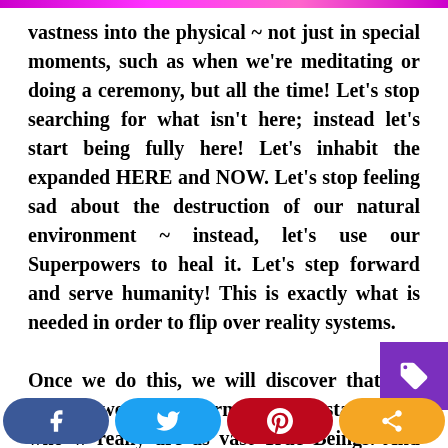vastness into the physical ~ not just in special moments, such as when we're meditating or doing a ceremony, but all the time! Let's stop searching for what isn't here; instead let's start being fully here! Let's inhabit the expanded HERE and NOW. Let's stop feeling sad about the destruction of our natural environment ~ instead, let's use our Superpowers to heal it. Let's step forward and serve humanity! This is exactly what is needed in order to flip over reality systems.

Once we do this, we will discover that our Superpowers are normal manifestations of who w really are as vast True Beings. And bringing forth
social share buttons: Facebook, Twitter, Pinterest, Share